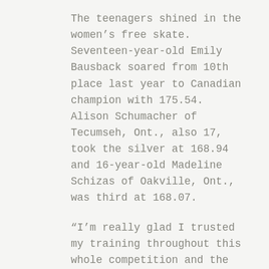The teenagers shined in the women's free skate. Seventeen-year-old Emily Bausback soared from 10th place last year to Canadian champion with 175.54. Alison Schumacher of Tecumseh, Ont., also 17, took the silver at 168.94 and 16-year-old Madeline Schizas of Oakville, Ont., was third at 168.07.
“I’m really glad I trusted my training throughout this whole competition and the entire season so far,” said Bausback, fourth after Friday’s short program. “I worked a lot on my performance skills and projecting to the audience my story.”
Schumacher also made a great comeback after the sixth best score in the short.
“I’m a little surprised because this was quite a strong event,” said Schumacher.